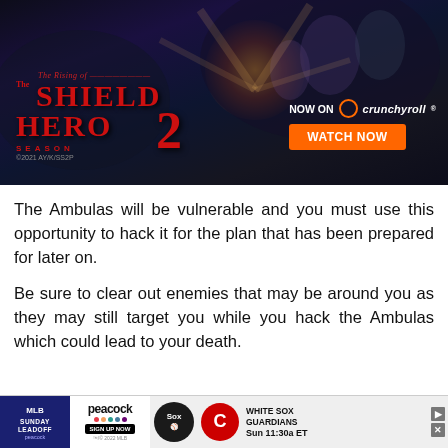[Figure (illustration): Advertisement banner for 'The Rising of the Shield Hero Season 2' anime, now streaming on Crunchyroll. Shows anime characters against a dark background with an orange glowing center. Text reads 'The Rising of The Shield Hero 2 Season 2' with a red stylized logo, 'NOW ON Crunchyroll' and an orange 'WATCH NOW' button. Copyright 2021 AY/K/SS2P.]
The Ambulas will be vulnerable and you must use this opportunity to hack it for the plan that has been prepared for later on.
Be sure to clear out enemies that may be around you as they may still target you while you hack the Ambulas which could lead to your death.
[Figure (illustration): Advertisement banner for MLB Sunday Leadoff on Peacock. Shows Peacock logo with 'SIGN UP NOW', White Sox and Cleveland Guardians logos, and text 'WHITE SOX GUARDIANS Sun 11:30a ET'. MLB copyright 2022.]